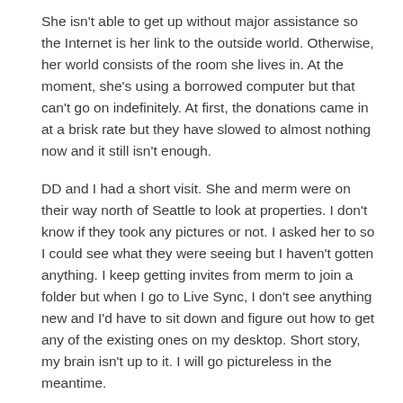She isn't able to get up without major assistance so the Internet is her link to the outside world. Otherwise, her world consists of the room she lives in. At the moment, she's using a borrowed computer but that can't go on indefinitely. At first, the donations came in at a brisk rate but they have slowed to almost nothing now and it still isn't enough.
DD and I had a short visit. She and merm were on their way north of Seattle to look at properties. I don't know if they took any pictures or not. I asked her to so I could see what they were seeing but I haven't gotten anything. I keep getting invites from merm to join a folder but when I go to Live Sync, I don't see anything new and I'd have to sit down and figure out how to get any of the existing ones on my desktop. Short story, my brain isn't up to it. I will go pictureless in the meantime.
Monday, it was back to walking and work, in that order. My desk was stacked with problems, as usual, so I was plenty busy.